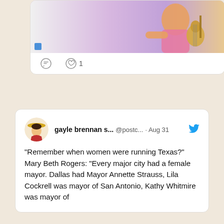[Figure (photo): Partial tweet card showing top portion with a photo of a person playing guitar in a pink/purple background, with comment and like (1) action icons below]
gayle brennan s... @postc... · Aug 31
"Remember when women were running Texas?" Mary Beth Rogers: "Every major city had a female mayor. Dallas had Mayor Annette Strauss, Lila Cockrell was mayor of San Antonio, Kathy Whitmire was mayor of
Recent Reads
The Illness Lesson
by Clare Beams
Last Dance on the Starlight Pier
by Sarah Bird